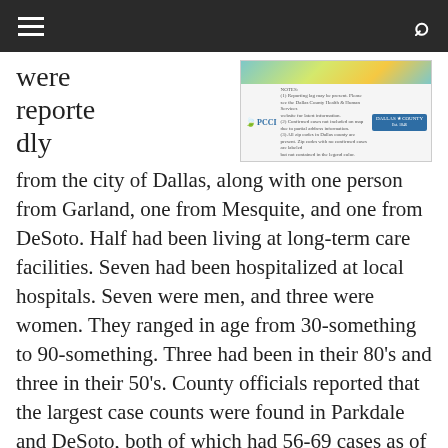≡  [navigation bar]  🔍
were reportedly
[Figure (map): PCCI Dallas County COVID-19 case map showing zip code level case counts with color-coded legend. Map shows areas of Dallas County with notes about reporting lag, combined cases, and zip code boundaries. Dallas County logo appears in bottom right.]
from the city of Dallas, along with one person from Garland, one from Mesquite, and one from DeSoto. Half had been living at long-term care facilities. Seven had been hospitalized at local hospitals. Seven were men, and three were women. They ranged in age from 30-something to 90-something. Three had been in their 80's and three in their 50's. County officials reported that the largest case counts were found in Parkdale and DeSoto, both of which had 56-69 cases as of Monday. Areas with the second largest case counts, 42-55 cases, were City of Dallas, Highland Park, Cockrell Hill, and Garland.